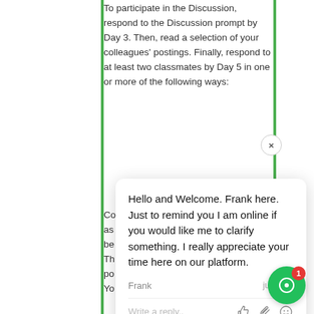To participate in the Discussion, respond to the Discussion prompt by Day 3. Then, read a selection of your colleagues' postings. Finally, respond to at least two classmates by Day 5 in one or more of the following ways:
Co... as... be... Th... po... Yo... styles of APA. Do... co...
[Figure (screenshot): Chat popup from Frank: 'Hello and Welcome. Frank here. Just to remind you I am online if you would like me to clarify something. I really appreciate your time here on our platform.' Sender: Frank, Time: just now. Reply input box with like, attachment, and emoji icons.]
Use in-text citation and list the reference of your supporting source following APA's style and formatting
Do not copy and paste information or concepts from the Internet and claim that is your work